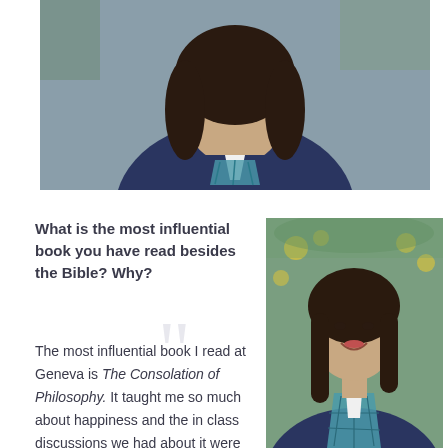[Figure (photo): Portrait photo of a young woman in a navy blue blazer with a teal/white patterned scarf, shown from shoulders up with dark hair, outdoor background with blurred foliage.]
What is the most influential book you have read besides the Bible? Why?
The most influential book I read at Geneva is The Consolation of Philosophy. It taught me so much about happiness and the in class discussions we had about it were some of my
[Figure (photo): Portrait photo of a smiling young woman in a navy blue blazer with a teal plaid/patterned scarf, long dark hair, outdoor background with yellow flowers and blurred foliage.]